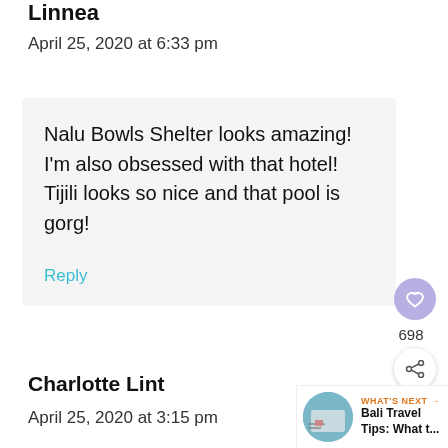Linnea
April 25, 2020 at 6:33 pm
Nalu Bowls Shelter looks amazing! I’m also obsessed with that hotel! Tijili looks so nice and that pool is gorg!
Reply
698
Charlotte Lint
April 25, 2020 at 3:15 pm